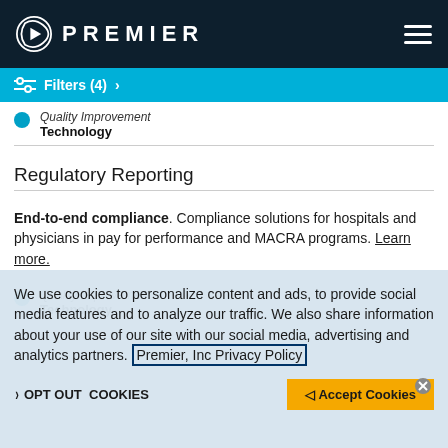[Figure (logo): Premier Inc. logo with triangular play-button icon and PREMIER text in white on dark navy header, with hamburger menu icon on right]
Filters (4) >
Quality Improvement
Technology
Regulatory Reporting
End-to-end compliance. Compliance solutions for hospitals and physicians in pay for performance and MACRA programs. Learn more.
Quality Improvement
Technology
We use cookies to personalize content and ads, to provide social media features and to analyze our traffic. We also share information about your use of our site with our social media, advertising and analytics partners. Premier, Inc Privacy Policy